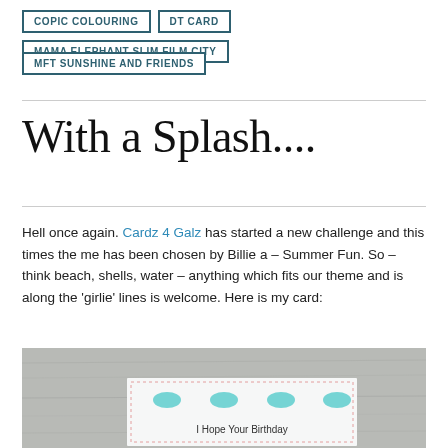COPIC COLOURING
DT CARD
MAMA ELEPHANT SLIM FILM CITY
MFT SUNSHINE AND FRIENDS
With a Splash....
Hell once again. Cardz 4 Galz has started a new challenge and this times the me has been chosen by Billie a – Summer Fun. So – think beach, shells, water – anything which fits our theme and is along the 'girlie' lines is welcome. Here is my card:
[Figure (photo): A greeting card on a wooden surface showing teal/turquoise circular embellishments and text reading 'I Hope Your Birthday' at the bottom of the visible portion.]